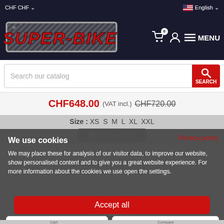CHF CHF  English
[Figure (logo): SUPER-BIKE logo in red text on dark background with metallic border]
Search our catalog  SEARCH
CHF648.00 (VAT incl.) CHF720.00
Size : XS S M L XL XXL
VIEW MORE
Privacy policy
We use cookies
We may place these for analysis of our visitor data, to improve our website, show personalised content and to give you a great website experience. For more information about the cookies we use open the settings.
Accept all
Deny
No, adjust